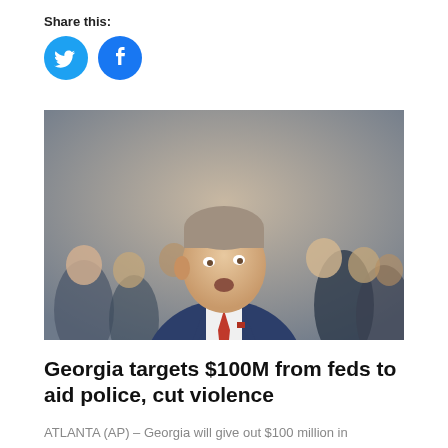Share this:
[Figure (other): Social media share buttons: Twitter (blue bird icon) and Facebook (blue f icon)]
[Figure (photo): A man in a navy blue suit with a red tie speaking or looking upward, surrounded by a crowd of people in the background.]
Georgia targets $100M from feds to aid police, cut violence
ATLANTA (AP) – Georgia will give out $100 million in